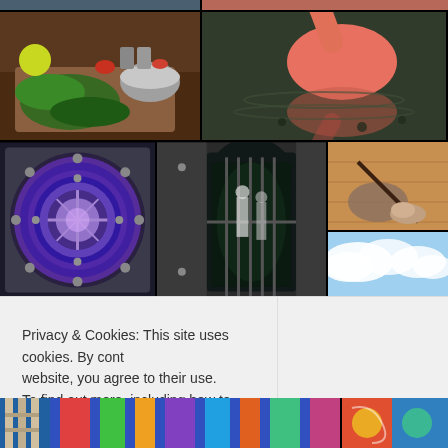[Figure (photo): Grid of photos: partial top strip showing person and flamingo, cooking ingredients on cutting board, flamingo in water, bank vault door with purple lighting, open vault entrance with people, person fishing on wood floor, partial sky/clouds image, partial bottom images of colorful textiles/ladders]
Privacy & Cookies: This site uses cookies. By cont website, you agree to their use.
To find out more, including how to control cookie
Close and accept